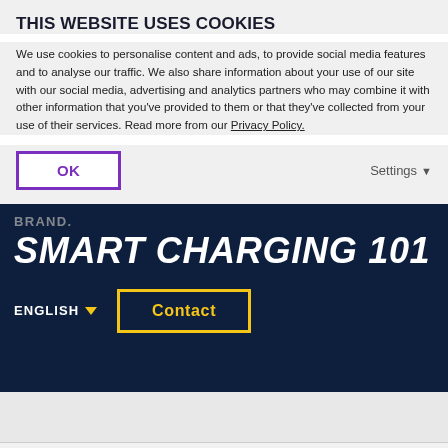THIS WEBSITE USES COOKIES
We use cookies to personalise content and ads, to provide social media features and to analyse our traffic. We also share information about your use of our site with our social media, advertising and analytics partners who may combine it with other information that you've provided to them or that they've collected from your use of their services. Read more from our Privacy Policy.
OK
Settings ▾
[Figure (screenshot): Dark navy website header showing 'SMART CHARGING 101' in large white italic text, with 'ENGLISH ▾' language selector and a yellow-bordered 'Contact' button below]
Accept and Close ✕
Your browser settings do not allow cross-site tracking for advertising. Click on this page to allow AdRoll to use cross-site tracking to tailor ads to you. Learn more or opt out of this AdRoll tracking by clicking here. This message only appears once.